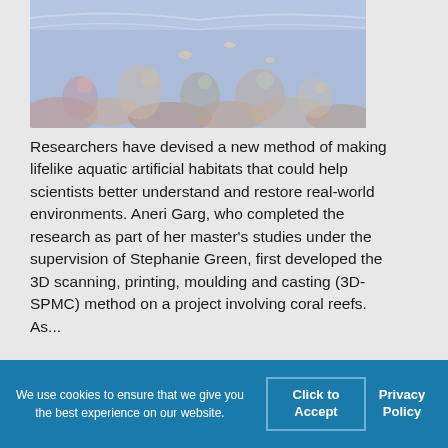[Figure (photo): Underwater photo of a coral reef with colorful corals, fish, and aquatic life, with a faded/washed-out blue tone.]
Researchers have devised a new method of making lifelike aquatic artificial habitats that could help scientists better understand and restore real-world environments. Aneri Garg, who completed the research as part of her master's studies under the supervision of Stephanie Green, first developed the 3D scanning, printing, moulding and casting (3D-SPMC) method on a project involving coral reefs. As...
We use cookies to ensure that we give you the best experience on our website.  Click to Accept  Privacy Policy